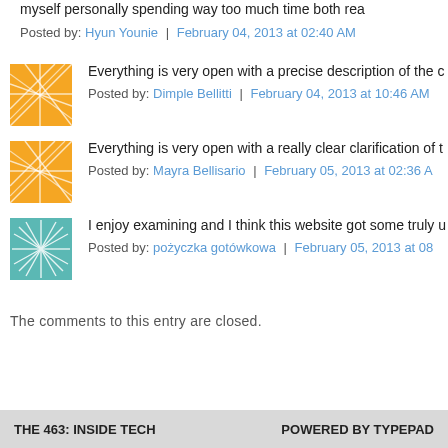myself personally spending way too much time both rea...
Posted by: Hyun Younie | February 04, 2013 at 02:40 AM
[Figure (illustration): Orange geometric pattern avatar]
Everything is very open with a precise description of the c...
Posted by: Dimple Bellitti | February 04, 2013 at 10:46 AM
[Figure (illustration): Orange geometric pattern avatar]
Everything is very open with a really clear clarification of t...
Posted by: Mayra Bellisario | February 05, 2013 at 02:36 A...
[Figure (illustration): Teal starburst pattern avatar]
I enjoy examining and I think this website got some truly u...
Posted by: pożyczka gotówkowa | February 05, 2013 at 08...
The comments to this entry are closed.
THE 463: INSIDE TECH    POWERED BY TYPEPAD